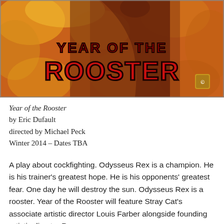[Figure (illustration): Theatrical poster for 'Year of the Rooster' — orange and yellow textured background with a dark silhouette of a person; bold red and black western-style text reading 'YEAR OF THE ROOSTER']
Year of the Rooster
by Eric Dufault
directed by Michael Peck
Winter 2014 – Dates TBA
A play about cockfighting. Odysseus Rex is a champion. He is his trainer's greatest hope. He is his opponents' greatest fear. One day he will destroy the sun. Odysseus Rex is a rooster. Year of the Rooster will feature Stray Cat's associate artistic director Louis Farber alongside founding artistic director Ron